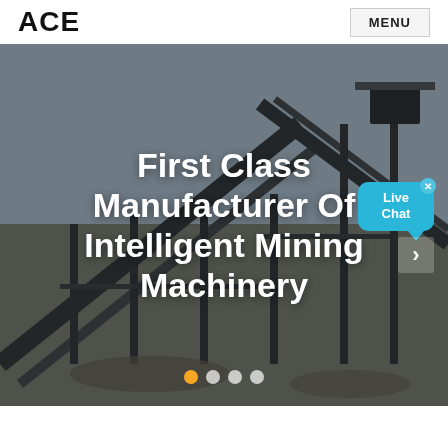ACE  MENU
[Figure (photo): Industrial mining machinery/conveyor belt structure at a construction/mining site with steel framework and equipment, overcast sky background. Overlaid with text 'First Class Manufacturer Of Intelligent Mining Machinery', a Live Chat bubble (cyan), a right arrow navigation button, and four pagination dots (first dot orange/active).]